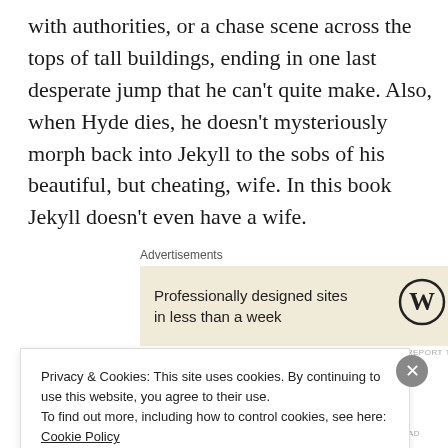with authorities, or a chase scene across the tops of tall buildings, ending in one last desperate jump that he can't quite make. Also, when Hyde dies, he doesn't mysteriously morph back into Jekyll to the sobs of his beautiful, but cheating, wife. In this book Jekyll doesn't even have a wife.
Advertisements
[Figure (other): Advertisement banner with beige background showing 'Professionally designed sites in less than a week' with WordPress logo (W)]
REPORT THIS AD
Privacy & Cookies: This site uses cookies. By continuing to use this website, you agree to their use. To find out more, including how to control cookies, see here: Cookie Policy
Close and accept